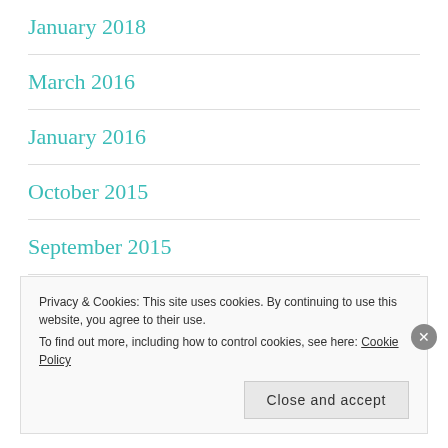January 2018
March 2016
January 2016
October 2015
September 2015
August 2015
Privacy & Cookies: This site uses cookies. By continuing to use this website, you agree to their use. To find out more, including how to control cookies, see here: Cookie Policy
Close and accept